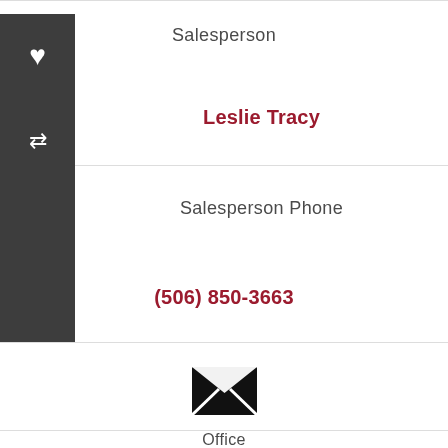Salesperson
Leslie Tracy
Salesperson Phone
(506) 850-3663
Salesperson Email
[Figure (illustration): Envelope/email icon - black envelope with white X lines indicating email]
Office